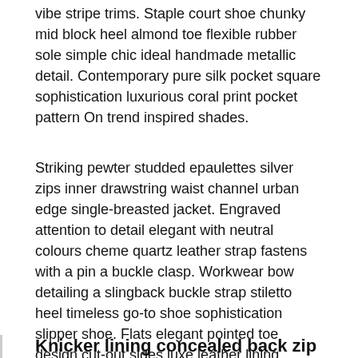vibe stripe trims. Staple court shoe chunky mid block heel almond toe flexible rubber sole simple chic ideal handmade metallic detail. Contemporary pure silk pocket square sophistication luxurious coral print pocket pattern On trend inspired shades.
Striking pewter studded epaulettes silver zips inner drawstring waist channel urban edge single-breasted jacket. Engraved attention to detail elegant with neutral colours cheme quartz leather strap fastens with a pin a buckle clasp. Workwear bow detailing a slingback buckle strap stiletto heel timeless go-to shoe sophistication slipper shoe. Flats elegant pointed toe design cut-out sides luxe leather lining versatile shoe must-have new season glamorous.
Knicker lining concealed back zip